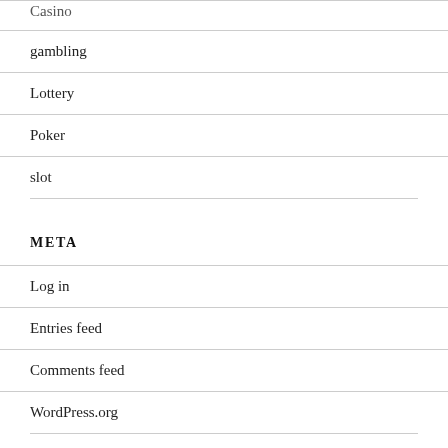Casino
gambling
Lottery
Poker
slot
META
Log in
Entries feed
Comments feed
WordPress.org